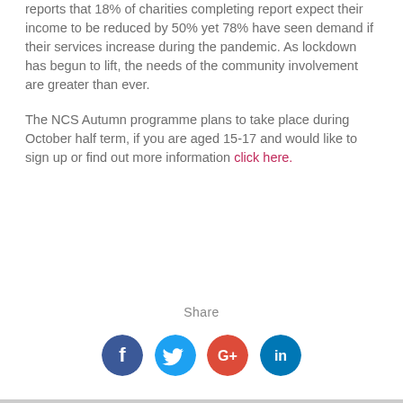reports that 18% of charities completing report expect their income to be reduced by 50% yet 78% have seen demand if their services increase during the pandemic. As lockdown has begun to lift, the needs of the community involvement are greater than ever.
The NCS Autumn programme plans to take place during October half term, if you are aged 15-17 and would like to sign up or find out more information click here.
Share
[Figure (illustration): Four social media sharing icons in a row: Facebook (dark blue circle with white F), Twitter (light blue circle with white bird), Google+ (red circle with white G+), LinkedIn (teal circle with white in)]